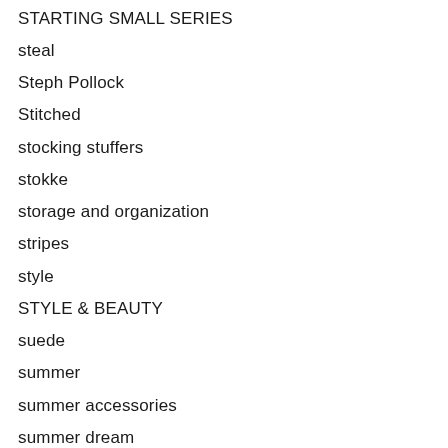STARTING SMALL SERIES
steal
Steph Pollock
Stitched
stocking stuffers
stokke
storage and organization
stripes
style
STYLE & BEAUTY
suede
summer
summer accessories
summer dream